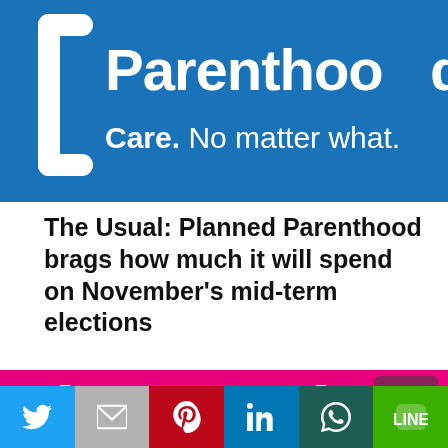[Figure (logo): Planned Parenthood logo on blue background with text 'Parenthood' and tagline 'Care. No matter what.']
The Usual: Planned Parenthood brags how much it will spend on November’s mid-term elections
[Figure (photo): Planned Parenthood Action Fund logo on hot pink/magenta background with partial white text visible]
[Figure (infographic): Social media share bar with Twitter, Gmail, Pinterest, LinkedIn, WhatsApp, and LINE buttons]